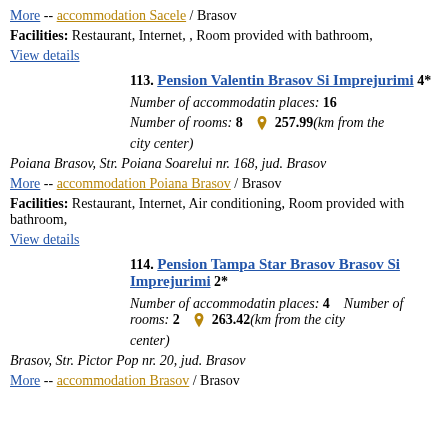More -- accommodation Sacele / Brasov
Facilities: Restaurant, Internet, , Room provided with bathroom,
View details
113. Pension Valentin Brasov Si Imprejurimi 4*
Number of accommodatin places: 16
Number of rooms: 8  257.99(km from the city center)
Poiana Brasov, Str. Poiana Soarelui nr. 168, jud. Brasov
More -- accommodation Poiana Brasov / Brasov
Facilities: Restaurant, Internet, Air conditioning, Room provided with bathroom,
View details
114. Pension Tampa Star Brasov Brasov Si Imprejurimi 2*
Number of accommodatin places: 4   Number of rooms: 2  263.42(km from the city center)
Brasov, Str. Pictor Pop nr. 20, jud. Brasov
More -- accommodation Brasov / Brasov